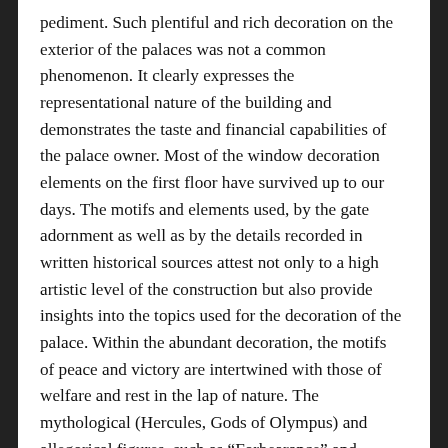pediment. Such plentiful and rich decoration on the exterior of the palaces was not a common phenomenon. It clearly expresses the representational nature of the building and demonstrates the taste and financial capabilities of the palace owner. Most of the window decoration elements on the first floor have survived up to our days. The motifs and elements used, by the gate adornment as well as by the details recorded in written historical sources attest not only to a high artistic level of the construction but also provide insights into the topics used for the decoration of the palace. Within the abundant decoration, the motifs of peace and victory are intertwined with those of welfare and rest in the lap of nature. The mythological (Hercules, Gods of Olympus) and allegorical figures, such as “Forbearance” and “Strength” were used to convey the virtues and heroism of the palace owner. The portraits of the Sapieha family representatives (and that of the palace builder) on the palace facade, created in the style of antiquity, vividly